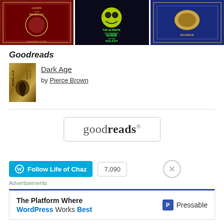[Figure (photo): Three books displayed on a wooden surface with green background: 'Gods and Heroes', 'The Ultimate Hitchhiker's Guide to the Galaxy', and a blue book attributed to Homer]
Goodreads
[Figure (photo): Book cover of 'Dark Age' by Pierce Brown - gold and black design]
Dark Age
by Pierce Brown
[Figure (logo): Goodreads logo in rounded rectangle border]
Follow Life of Chaz  7,090
Advertisements
The Platform Where WordPress Works Best  Pressable